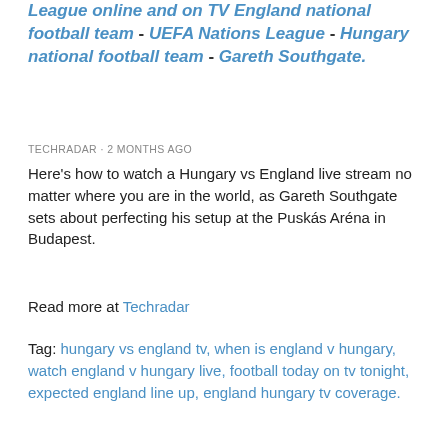League online and on TV England national football team - UEFA Nations League - Hungary national football team - Gareth Southgate.
TECHRADAR · 2 MONTHS AGO
Here's how to watch a Hungary vs England live stream no matter where you are in the world, as Gareth Southgate sets about perfecting his setup at the Puskás Aréna in Budapest.
Read more at Techradar
Tag: hungary vs england tv, when is england v hungary, watch england v hungary live, football today on tv tonight, expected england line up, england hungary tv coverage.
[Figure (photo): Two football players competing on the pitch, one in orange kit and one in white/grey kit, partial watermark text visible in corner]